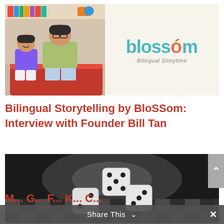[Figure (photo): Banner image showing a man and young girl sitting on a red couch in a room with books and a globe, alongside the BloSSom Bilingual Storytime logo on a cream background.]
Bilingual Storytelling by BloSSom: Interview with Founder Bill Tan
[Figure (photo): Black and white photo of three dice on a checkered surface, with dramatic dark background lighting.]
Share This ∨  ×